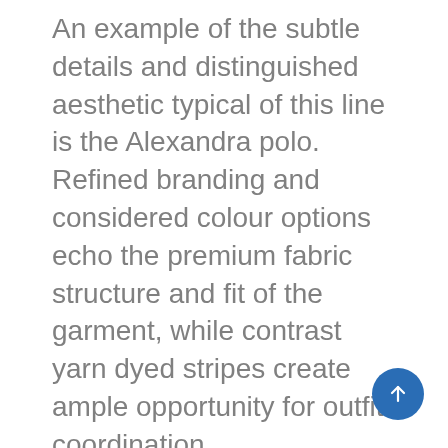An example of the subtle details and distinguished aesthetic typical of this line is the Alexandra polo. Refined branding and considered colour options echo the premium fabric structure and fit of the garment, while contrast yarn dyed stripes create ample opportunity for outfit coordination.
“This women’s line is so balanced. We’ve altered the structure slightly, and added beautiful detailing which really feminises the feel of the